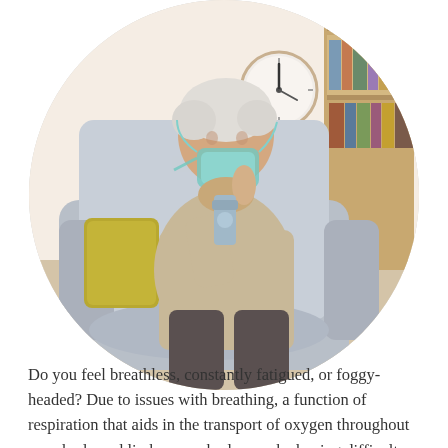[Figure (photo): Circular cropped photo of an elderly woman with short white hair sitting in a large grey armchair, holding a nebulizer/oxygen mask to her face. She wears a beige sweater and dark trousers. A yellow cushion is visible on the chair. In the background there is a bookshelf with books and a round wall clock.]
Do you feel breathless, constantly fatigued, or foggy-headed? Due to issues with breathing, a function of respiration that aids in the transport of oxygen throughout your body and limbs, your body may be having difficulty obtaining and transporting